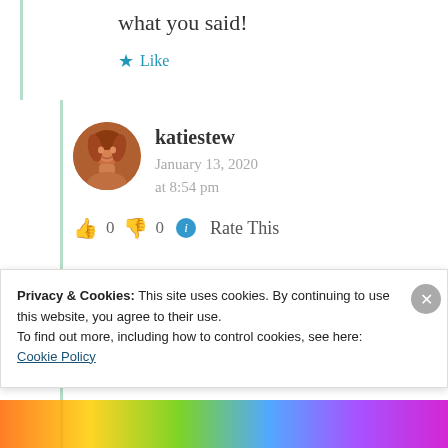what you said!
★ Like
katiestew
January 13, 2020
at 8:54 pm
👍 0 👎 0 ℹ Rate This
Privacy & Cookies: This site uses cookies. By continuing to use this website, you agree to their use.
To find out more, including how to control cookies, see here: Cookie Policy
Close and accept